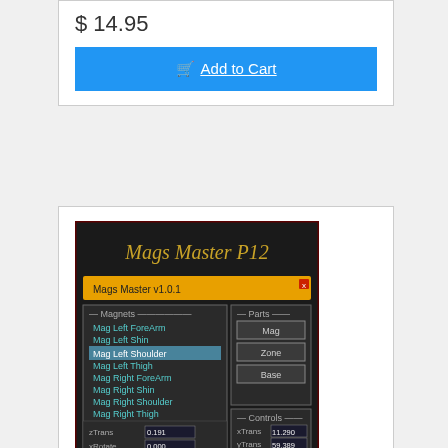$ 14.95
Add to Cart
[Figure (screenshot): Screenshot of Mags Master P12 software interface showing magnets list (Mag Left ForeArm, Mag Left Shin, Mag Left Shoulder highlighted, Mag Left Thigh, Mag Right ForeArm, Mag Right Shin, Mag Right Shoulder, Mag Right Thigh), Parts buttons (Mag, Zone, Base), Controls panel with xTrans 11.290, yTrans 59.389, zTrans 0.191, xRotate 0.000, yRotate 0.000]
Mags Master for Poser 12
$ 16.95
Add to Cart